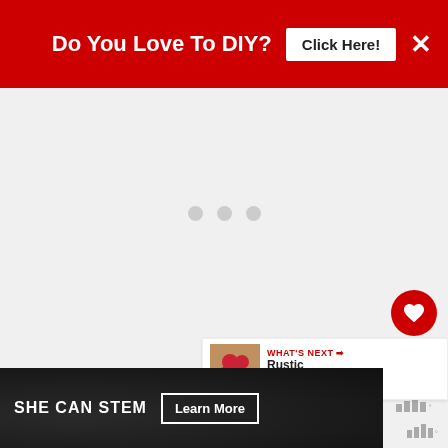Do You Love To DIY?  Click Here!  ×
[Figure (screenshot): Loading placeholder with three grey dots centered in a light grey content area]
[Figure (screenshot): Red circular heart/like button and white circular share button on right side]
[Figure (screenshot): WHAT'S NEXT → Rustic Wooden Egg... widget with thumbnail image]
And that, my friends, was that
[Figure (screenshot): SHE CAN STEM advertisement banner with Learn More button on dark background]